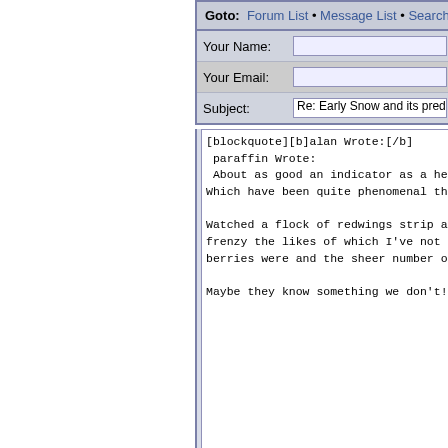Goto: Forum List • Message List • Search
Your Name: [input field]
Your Email: [input field]
Subject: Re: Early Snow and its predictive v
[blockquote][b]alan Wrote:[/b]
 paraffin Wrote:
 About as good an indicator as a he
Which have been quite phenomenal th

Watched a flock of redwings strip a
frenzy the likes of which I've not
berries were and the sheer number o

Maybe they know something we don't!